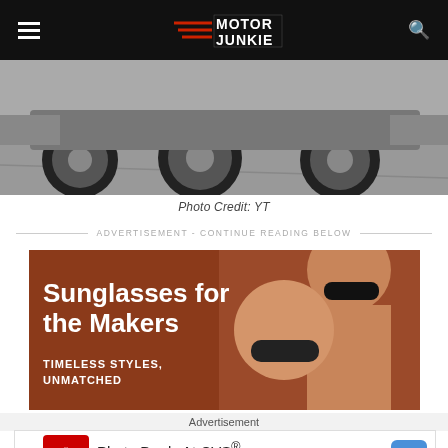Motor Junkie
[Figure (photo): Bottom portion of a car showing wheels and tires on a road surface]
Photo Credit: YT
ADVERTISEMENT - CONTINUE READING BELOW
[Figure (photo): Advertisement for sunglasses showing two women wearing sunglasses against an orange-brown background. Text reads: Sunglasses for the Makers. TIMELESS STYLES. UNMATCHED...]
Advertisement
Photo Deals At CVS® CVS Photo